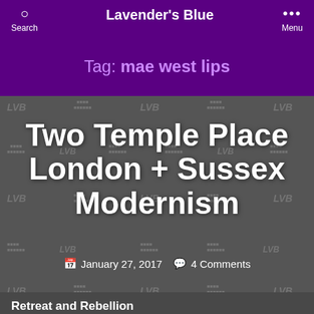Lavender's Blue
Tag: mae west lips
Two Temple Place London + Sussex Modernism
January 27, 2017  4 Comments
Retreat and Rebellion